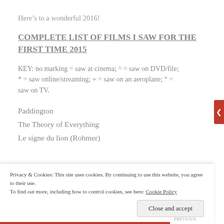Here’s to a wonderful 2016!
COMPLETE LIST OF FILMS I SAW FOR THE FIRST TIME 2015
KEY: no marking = saw at cinema; ^ = saw on DVD/file; * = saw online/streaming; + = saw on an aeroplane; ” = saw on TV.
Paddington
The Theory of Everything
Le signe du lion (Rohmer)
Privacy & Cookies: This site uses cookies. By continuing to use this website, you agree to their use. To find out more, including how to control cookies, see here: Cookie Policy
Close and accept